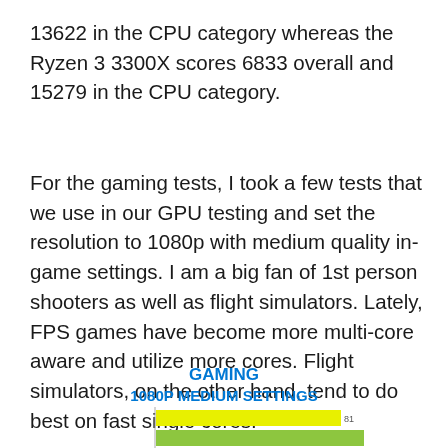13622 in the CPU category whereas the Ryzen 3 3300X scores 6833 overall and 15279 in the CPU category.
For the gaming tests, I took a few tests that we use in our GPU testing and set the resolution to 1080p with medium quality in-game settings. I am a big fan of 1st person shooters as well as flight simulators. Lately, FPS games have become more multi-core aware and utilize more cores. Flight simulators, on the other hand, tend to do best on fast single cores.
GAMING
1080P MEDIUM SETTINGS
[Figure (bar-chart): Partial bar chart showing Gaming 1080P Medium Settings benchmark results; two horizontal bars visible (yellow/lime colored), partially cut off at bottom of page.]